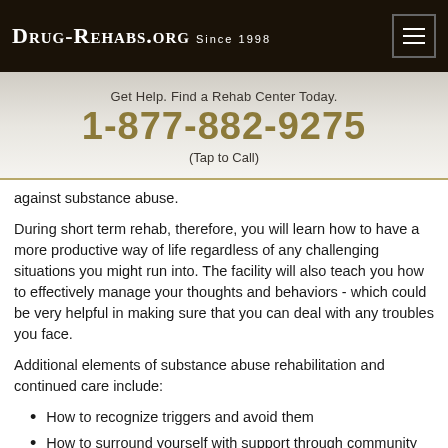Drug-Rehabs.org Since 1998
Get Help. Find a Rehab Center Today. 1-877-882-9275 (Tap to Call)
against substance abuse.
During short term rehab, therefore, you will learn how to have a more productive way of life regardless of any challenging situations you might run into. The facility will also teach you how to effectively manage your thoughts and behaviors - which could be very helpful in making sure that you can deal with any troubles you face.
Additional elements of substance abuse rehabilitation and continued care include:
How to recognize triggers and avoid them
How to surround yourself with support through community groups, outpatient treatment, and stays